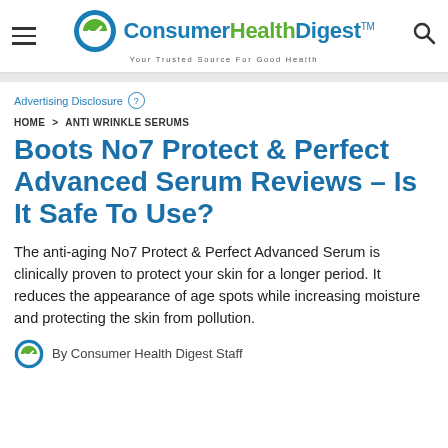Consumer Health Digest™ — Your Trusted Source For Good Health
Advertising Disclosure
HOME > ANTI WRINKLE SERUMS
Boots No7 Protect & Perfect Advanced Serum Reviews – Is It Safe To Use?
The anti-aging No7 Protect & Perfect Advanced Serum is clinically proven to protect your skin for a longer period. It reduces the appearance of age spots while increasing moisture and protecting the skin from pollution.
By Consumer Health Digest Staff